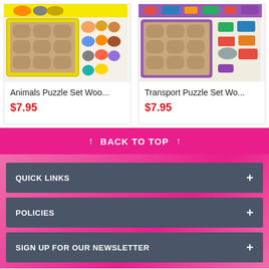[Figure (photo): Animals Puzzle Set wooden toy product image showing colorful animal puzzle pieces]
Animals Puzzle Set Woo...
$7.95
[Figure (photo): Transport Puzzle Set wooden toy product image showing colorful vehicle puzzle pieces]
Transport Puzzle Set Wo...
$7.95
BACK TO TOP
QUICK LINKS +
POLICIES +
SIGN UP FOR OUR NEWSLETTER +